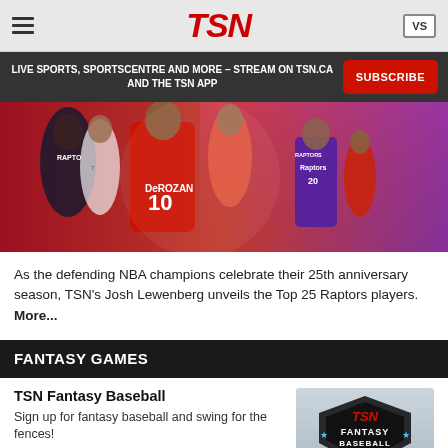TSN
LIVE SPORTS, SPORTSCENTRE AND MORE – STREAM ON TSN.CA AND THE TSN APP
[Figure (photo): Toronto Raptors basketball players promotional image featuring DeMar DeRozan #10 and other players in Raptors uniforms with red/purple background]
As the defending NBA champions celebrate their 25th anniversary season, TSN's Josh Lewenberg unveils the Top 25 Raptors players. More...
FANTASY GAMES
TSN Fantasy Baseball
Sign up for fantasy baseball and swing for the fences!
› SIGN IN
[Figure (logo): TSN Fantasy Baseball logo with dark badge design and baseball]